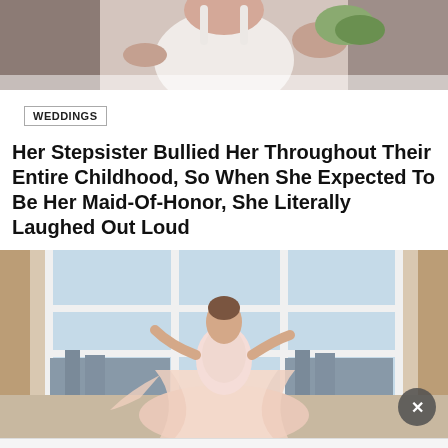[Figure (photo): Close-up photo of a woman in a white wedding dress holding greenery, cropped at torso level]
WEDDINGS
Her Stepsister Bullied Her Throughout Their Entire Childhood, So When She Expected To Be Her Maid-Of-Honor, She Literally Laughed Out Loud
[Figure (photo): Woman in a flowing pink/blush ballgown dress standing in front of large windows with city view and curtains]
[Figure (other): Advertisement banner area at bottom of page with close button (x)]